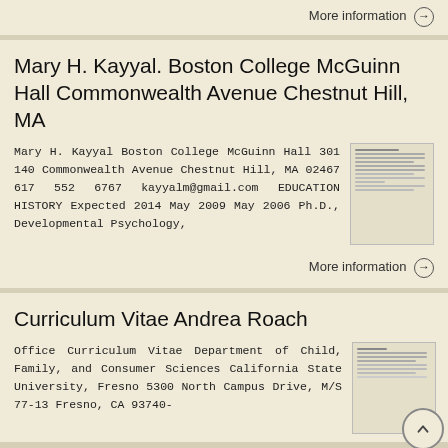More information →
Mary H. Kayyal. Boston College McGuinn Hall Commonwealth Avenue Chestnut Hill, MA
Mary H. Kayyal Boston College McGuinn Hall 301 140 Commonwealth Avenue Chestnut Hill, MA 02467 617 552 6767 kayyalm@gmail.com EDUCATION HISTORY Expected 2014 May 2009 May 2006 Ph.D., Developmental Psychology,
More information →
Curriculum Vitae Andrea Roach
Office Curriculum Vitae Department of Child, Family, and Consumer Sciences California State University, Fresno 5300 North Campus Drive, M/S 77-13 Fresno, CA 93740-